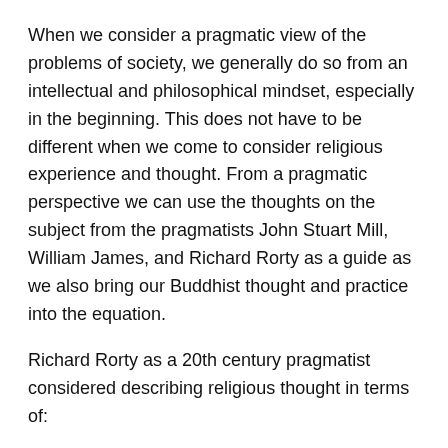When we consider a pragmatic view of the problems of society, we generally do so from an intellectual and philosophical mindset, especially in the beginning. This does not have to be different when we come to consider religious experience and thought. From a pragmatic perspective we can use the thoughts on the subject from the pragmatists John Stuart Mill, William James, and Richard Rorty as a guide as we also bring our Buddhist thought and practice into the equation.
Richard Rorty as a 20th century pragmatist considered describing religious thought in terms of:
1 Placing aside talk about Truth and Reason, our only responsibility, philosophically and morally, is to our fellow human beings, not some “sublime dimension of being” or “